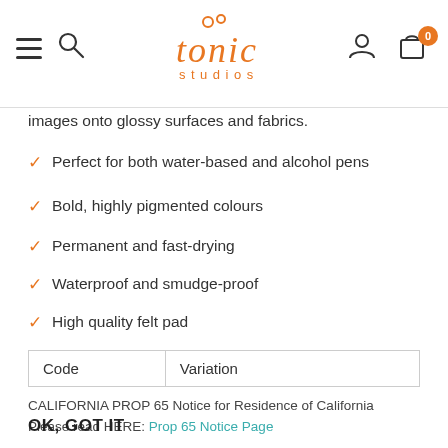Tonic Studios navigation bar with hamburger menu, search, logo, user account, and cart (0)
images onto glossy surfaces and fabrics.
Perfect for both water-based and alcohol pens
Bold, highly pigmented colours
Permanent and fast-drying
Waterproof and smudge-proof
High quality felt pad
| Code | Variation |
| --- | --- |
CALIFORNIA PROP 65 Notice for Residence of California
Please read HERE: Prop 65 Notice Page
OK, GOT IT